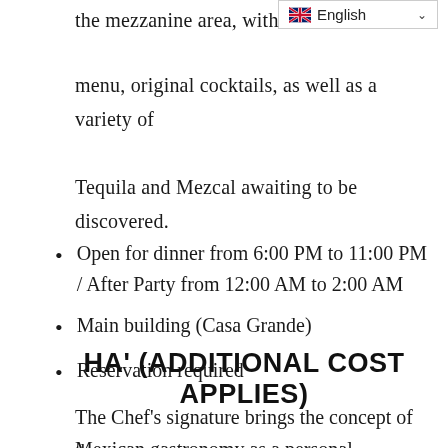the mezzanine area, with
menu, original cocktails, as well as a variety of
Tequila and Mezcal awaiting to be discovered.
Open for dinner from 6:00 PM to 11:00 PM / After Party from 12:00 AM to 2:00 AM
Main building (Casa Grande)
Reservation required
HA' (ADDITIONAL COST APPLIES)
The Chef's signature brings the concept of the
Mexican gastronomy as a personal experience